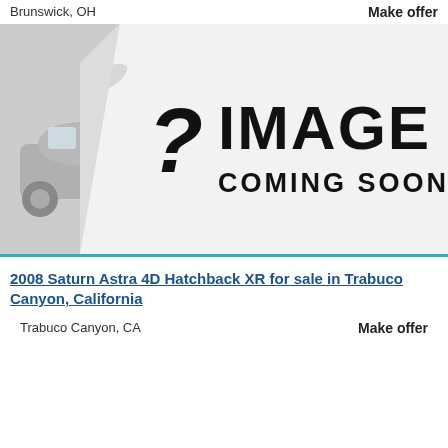Brunswick, OH
Make offer
[Figure (photo): Image Coming Soon placeholder with a car silhouette on the left and a peeling page effect revealing a question mark and 'IMAGE COMING SOON' text]
2008 Saturn Astra 4D Hatchback XR for sale in Trabuco Canyon, California
Trabuco Canyon, CA
Make offer